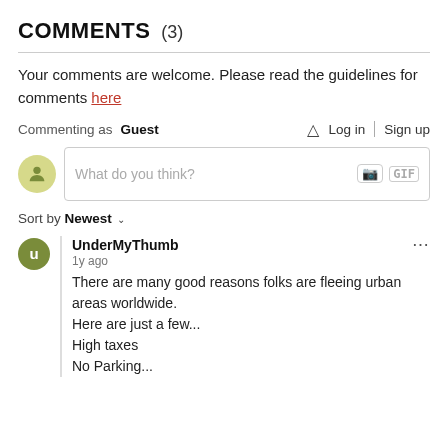COMMENTS (3)
Your comments are welcome. Please read the guidelines for comments here
Commenting as Guest    Log in | Sign up
[Figure (other): Comment input box with placeholder text 'What do you think?' and camera/GIF icons]
Sort by Newest
UnderMyThumb
1y ago
There are many good reasons folks are fleeing urban areas worldwide.
Here are just a few...
High taxes
No Parking...